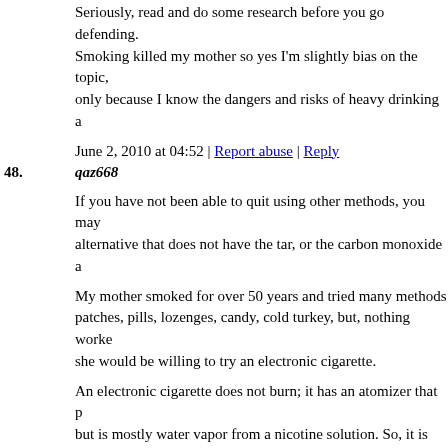Seriously, read and do some research before you go defending. Smoking killed my mother so yes I'm slightly bias on the topic, only because I know the dangers and risks of heavy drinking a
June 2, 2010 at 04:52 | Report abuse | Reply
48. qaz668
If you have not been able to quit using other methods, you may alternative that does not have the tar, or the carbon monoxide a
My mother smoked for over 50 years and tried many methods patches, pills, lozenges, candy, cold turkey, but, nothing worke she would be willing to try an electronic cigarette.
An electronic cigarette does not burn; it has an atomizer that p but is mostly water vapor from a nicotine solution. So, it is like withdrawal symptoms, but, it provides the user with the tactile are more likely to stick with it.
It comes in a variety of strengths so you can step down your ni you can just use them confident that you are avoiding real ciga chemicals in the smoke they produce, along with the tar.
You can check them out at: http://www.CleanGreenNicotine.co
June 2, 2010 at 06:49 | Report abuse | Reply